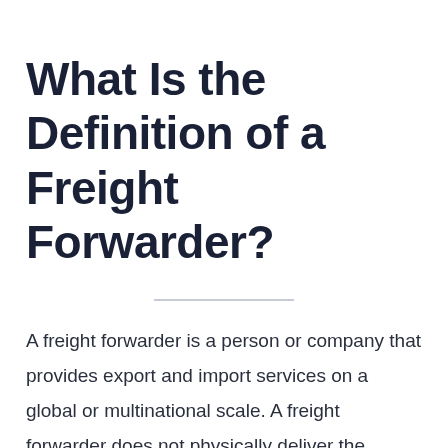What Is the Definition of a Freight Forwarder?
A freight forwarder is a person or company that provides export and import services on a global or multinational scale. A freight forwarder does not physically deliver the products but operates as a middleman between the customer and the carrier, whether it be air freight, ocean or sea liners, or road haulage distribution